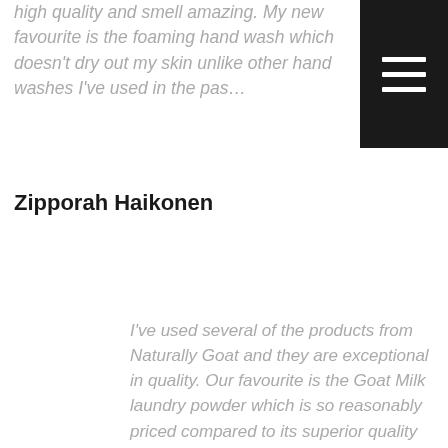high quality and smell amazing. My new favourite is the foaming hand wash which doesn't dry out my skin unlike other hand washes I've used in the past.
[Figure (other): Hamburger menu icon — three horizontal white lines on a dark/black square background, positioned top-right corner]
Zipporah Haikonen
I've used several of the products from Naturally Goat and they are exceptional in quality. Our favourite is the Goat Milk laundry powder which is so reasonably priced compared to its superior quality and they last very long with over 50 washes. We do two loads of washing per week and this means they will last for almost 6 months which is so sustainable! Their wonderful and friendly service is also second to none. The founder, Orianna is always prompt in her responses and is so helpful with choosing the best